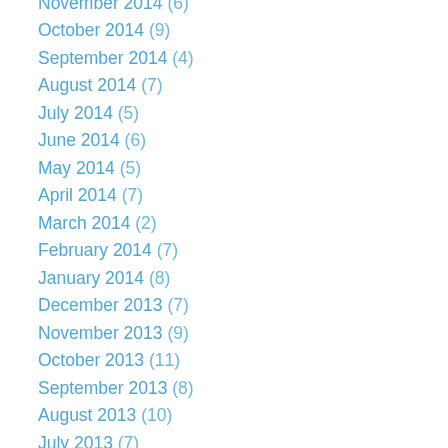November 2014 (6)
October 2014 (9)
September 2014 (4)
August 2014 (7)
July 2014 (5)
June 2014 (6)
May 2014 (5)
April 2014 (7)
March 2014 (2)
February 2014 (7)
January 2014 (8)
December 2013 (7)
November 2013 (9)
October 2013 (11)
September 2013 (8)
August 2013 (10)
July 2013 (7)
June 2013 (11)
May 2013 (13)
April 2013 (12)